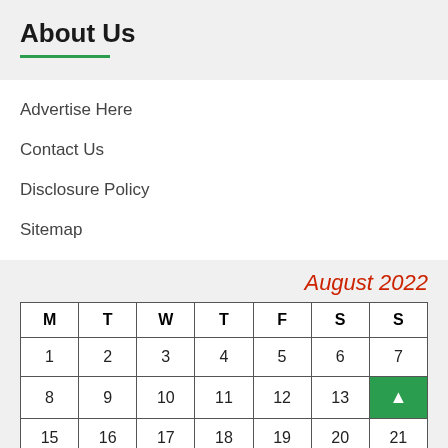About Us
Advertise Here
Contact Us
Disclosure Policy
Sitemap
August 2022
| M | T | W | T | F | S | S |
| --- | --- | --- | --- | --- | --- | --- |
| 1 | 2 | 3 | 4 | 5 | 6 | 7 |
| 8 | 9 | 10 | 11 | 12 | 13 | ▲ |
| 15 | 16 | 17 | 18 | 19 | 20 | 21 |